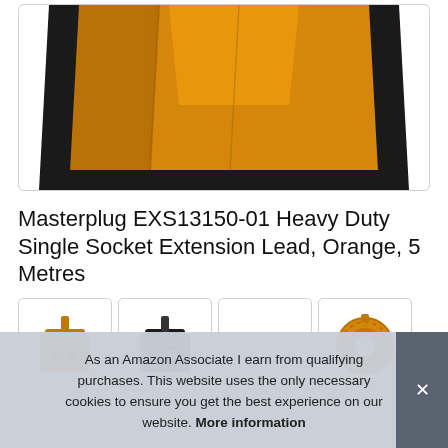[Figure (photo): Top portion of an orange heavy duty extension lead/plug, showing the angled orange casing with black border, cropped from a product photo on white background]
Masterplug EXS13150-01 Heavy Duty Single Socket Extension Lead, Orange, 5 Metres
[Figure (photo): Thumbnail 1: Orange plug connector front view]
[Figure (photo): Thumbnail 2: Black plug connector front view]
[Figure (photo): Thumbnail 3: Empty/white thumbnail]
[Figure (photo): Thumbnail 4: Orange coiled cable/reel]
As an Amazon Associate I earn from qualifying purchases. This website uses the only necessary cookies to ensure you get the best experience on our website. More information